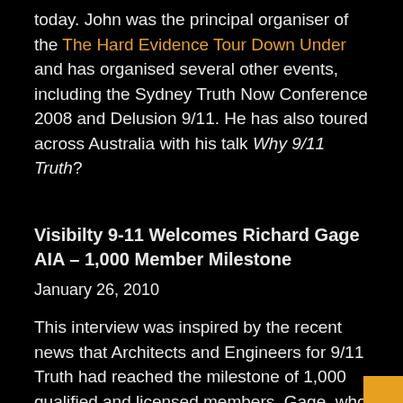today. John was the principal organiser of the The Hard Evidence Tour Down Under and has organised several other events, including the Sydney Truth Now Conference 2008 and Delusion 9/11. He has also toured across Australia with his talk Why 9/11 Truth?
Visibilty 9-11 Welcomes Richard Gage AIA – 1,000 Member Milestone
January 26, 2010
This interview was inspired by the recent news that Architects and Engineers for 9/11 Truth had reached the milestone of 1,000 qualified and licensed members. Gage, who is an experienced San Francisco Architect, member of the American Institute of Architects and the found...